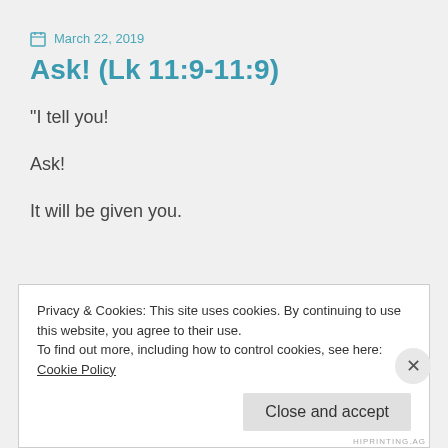March 22, 2019
Ask! (Lk 11:9-11:9)
“I tell you!
Ask!
It will be given you.
Privacy & Cookies: This site uses cookies. By continuing to use this website, you agree to their use.
To find out more, including how to control cookies, see here: Cookie Policy